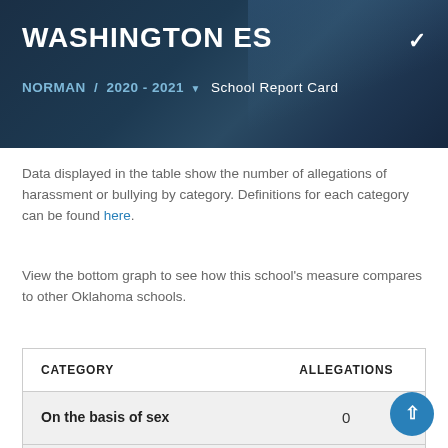WASHINGTON ES
NORMAN / 2020 - 2021 ▼ School Report Card
Data displayed in the table show the number of allegations of harassment or bullying by category. Definitions for each category can be found here.
View the bottom graph to see how this school's measure compares to other Oklahoma schools.
| CATEGORY | ALLEGATIONS |
| --- | --- |
| On the basis of sex | 0 |
| On the basis of race or national origin | 0 |
| On the basis of disability | 0 |